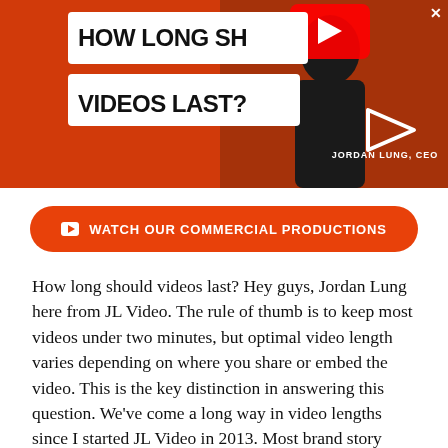[Figure (screenshot): YouTube-style video thumbnail with orange/red background, text 'HOW LONG SH... VIDEOS LAST?' in white bold font, person in dark shirt, YouTube play button logo, text 'JORDAN LUNG, CEO' and a play button icon on the right.]
🎬 WATCH OUR COMMERCIAL PRODUCTIONS
How long should videos last? Hey guys, Jordan Lung here from JL Video. The rule of thumb is to keep most videos under two minutes, but optimal video length varies depending on where you share or embed the video. This is the key distinction in answering this question. We've come a long way in video lengths since I started JL Video in 2013. Most brand story videos were 3-5 minute long and the thought of doing 15 second long videos was not the norm. A lot has changed since then.